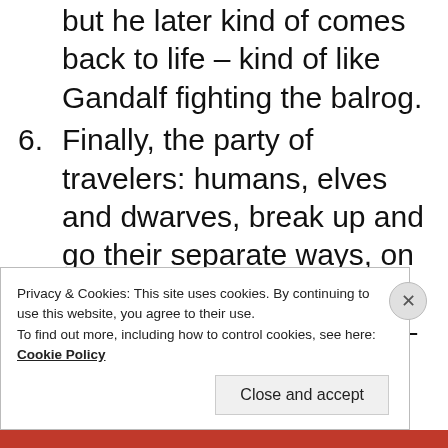but he later kind of comes back to life – kind of like Gandalf fighting the balrog.
6. Finally, the party of travelers: humans, elves and dwarves, break up and go their separate ways, on separate quests, only to meet up again in the end – kind of like the fellowship did in LOTR.
7. Masses of armies of evil things attack an ancient city, the last hope for mankind – kind of like Minas Tirith
Privacy & Cookies: This site uses cookies. By continuing to use this website, you agree to their use.
To find out more, including how to control cookies, see here:
Cookie Policy
Close and accept